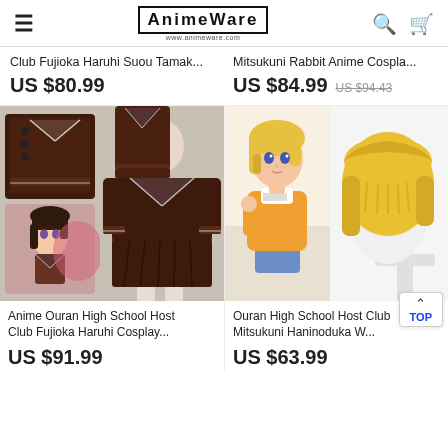AnimeWare — www.animeware.com
Club Fujioka Haruhi Suou Tamak...
US $80.99
Mitsukuni Rabbit Anime Cospla...
US $84.99  US $94.43
[Figure (photo): Anime Ouran High School Host Club Fujioka Haruhi cosplay costume — brown sailor uniform displayed on mannequin with two outfit pieces and anime character illustration]
[Figure (photo): Ouran High School Host Club Mitsukuni Haninoduka wig — golden blonde short wig on mannequin head with anime character illustration]
Anime Ouran High School Host Club Fujioka Haruhi Cosplay...
US $91.99
Ouran High School Host Club Mitsukuni Haninoduka W...
US $63.99